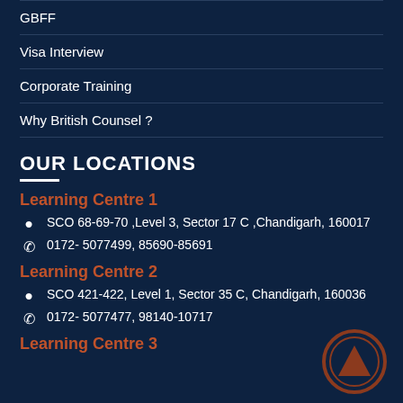GBFF
Visa Interview
Corporate Training
Why British Counsel ?
OUR LOCATIONS
Learning Centre 1
SCO 68-69-70 ,Level 3, Sector 17 C ,Chandigarh, 160017
0172- 5077499, 85690-85691
Learning Centre 2
SCO 421-422, Level 1, Sector 35 C, Chandigarh, 160036
0172- 5077477, 98140-10717
Learning Centre 3
[Figure (logo): British Counsel circular logo with upward arrow triangle symbol in dark red/brown]